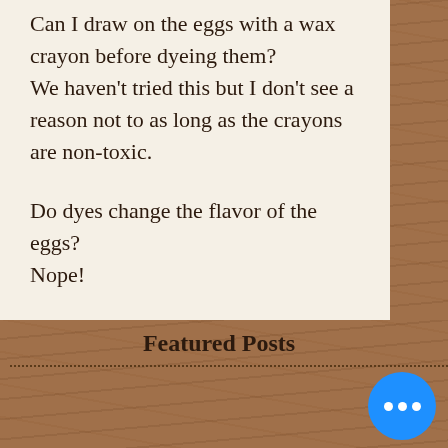Can I draw on the eggs with a wax crayon before dyeing them? We haven't tried this but I don't see a reason not to as long as the crayons are non-toxic.
Do dyes change the flavor of the eggs? Nope!
Happy Easter!
Featured Posts